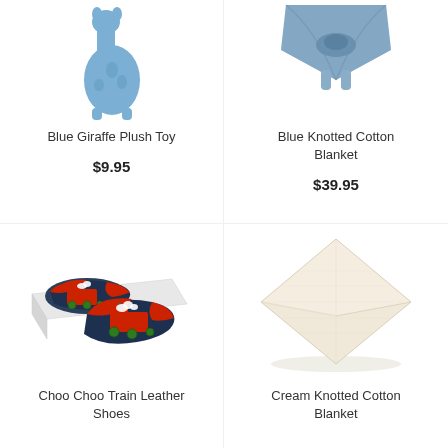[Figure (photo): Blue Giraffe Plush Toy product image (partially cropped at top)]
Blue Giraffe Plush Toy
$9.95
[Figure (photo): Blue Knotted Cotton Blanket product image (partially cropped at top)]
Blue Knotted Cotton Blanket
$39.95
[Figure (photo): Choo Choo Train Leather Shoes - navy blue baby shoes with red train design, shown on white box]
Choo Choo Train Leather Shoes
[Figure (photo): Cream Knotted Cotton Blanket - folded cream/beige blanket]
Cream Knotted Cotton Blanket